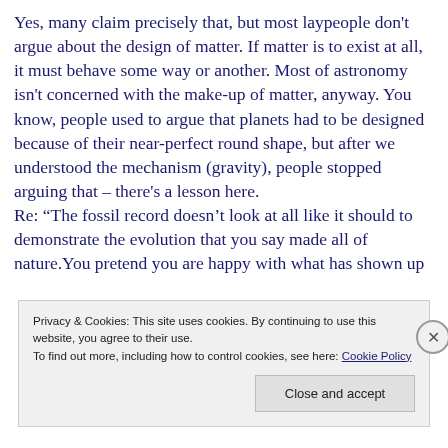Yes, many claim precisely that, but most laypeople don't argue about the design of matter. If matter is to exist at all, it must behave some way or another. Most of astronomy isn't concerned with the make-up of matter, anyway. You know, people used to argue that planets had to be designed because of their near-perfect round shape, but after we understood the mechanism (gravity), people stopped arguing that – there's a lesson here. Re: “The fossil record doesn't look at all like it should to demonstrate the evolution that you say made all of nature.You pretend you are happy with what has shown up
Privacy & Cookies: This site uses cookies. By continuing to use this website, you agree to their use. To find out more, including how to control cookies, see here: Cookie Policy
Close and accept